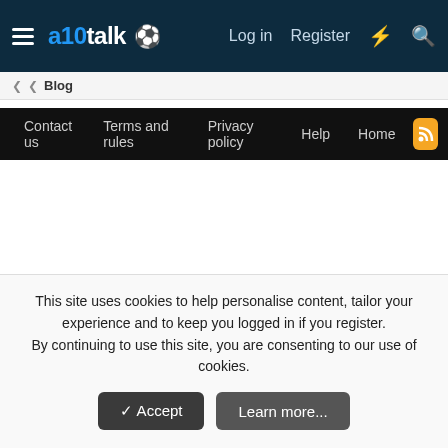a10talk — Log in  Register
Blog
Contact us  Terms and rules  Privacy policy  Help  Home
This site uses cookies to help personalise content, tailor your experience and to keep you logged in if you register. By continuing to use this site, you are consenting to our use of cookies.
Accept  Learn more...